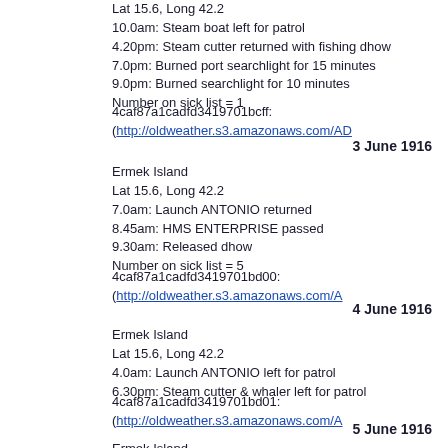Lat 15.6, Long 42.2
10.0am: Steam boat left for patrol
4.20pm: Steam cutter returned with fishing dhow
7.0pm: Burned port searchlight for 15 minutes
9.0pm: Burned searchlight for 10 minutes
Number on sick list = 1
4caf87a1cadfd3419701bcff: (http://oldweather.s3.amazonaws.com/AD...
3 June 1916
Ermek Island
Lat 15.6, Long 42.2
7.0am: Launch ANTONIO returned
8.45am: HMS ENTERPRISE passed
9.30am: Released dhow
Number on sick list = 5
4caf87a1cadfd3419701bd00: (http://oldweather.s3.amazonaws.com/A...
4 June 1916
Ermek Island
Lat 15.6, Long 42.2
4.0am: Launch ANTONIO left for patrol
6.30pm: Steam cutter & whaler left for patrol
4caf87a1cadfd3419701bd01: (http://oldweather.s3.amazonaws.com/A...
5 June 1916
Ermek Island
Lat 15.6, Long 42.2